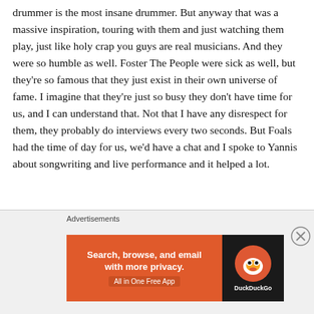drummer is the most insane drummer. But anyway that was a massive inspiration, touring with them and just watching them play, just like holy crap you guys are real musicians. And they were so humble as well. Foster The People were sick as well, but they’re so famous that they just exist in their own universe of fame. I imagine that they’re just so busy they don’t have time for us, and I can understand that. Not that I have any disrespect for them, they probably do interviews every two seconds. But Foals had the time of day for us, we’d have a chat and I spoke to Yannis about songwriting and live performance and it helped a lot.
[Figure (screenshot): DuckDuckGo advertisement banner: orange left panel with text 'Search, browse, and email with more privacy. All in One Free App' and dark right panel with DuckDuckGo duck logo and brand name.]